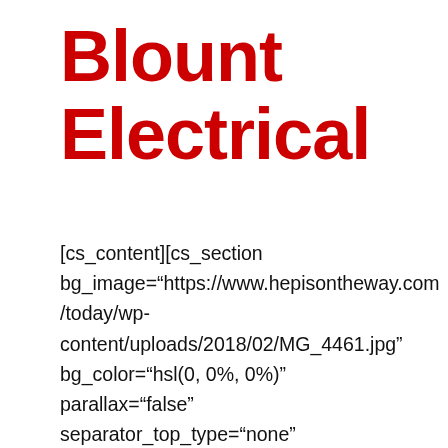Blount Electrical
[cs_content][cs_section bg_image="https://www.hepisontheway.com/today/wp-content/uploads/2018/02/MG_4461.jpg" bg_color="hsl(0, 0%, 0%)" parallax="false" separator_top_type="none" separator_top_height="50px" separator_top_angle_point="50" separator_bottom_type="none"